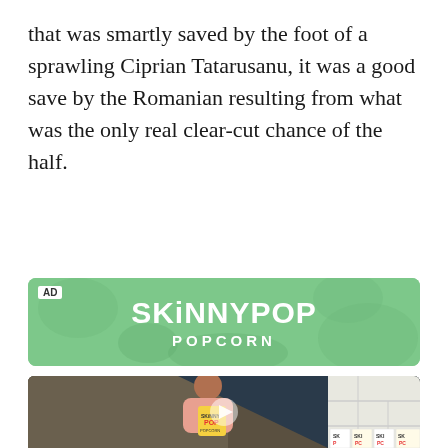that was smartly saved by the foot of a sprawling Ciprian Tatarusanu, it was a good save by the Romanian resulting from what was the only real clear-cut chance of the half.
[Figure (photo): SkinnyPop Popcorn advertisement banner with green textured background and white logo text]
[Figure (photo): Video thumbnail showing a man in a pink tie-dye sweatshirt holding a SkinnyPop Popcorn bag, standing near shelving under stairs with more SkinnyPop products visible]